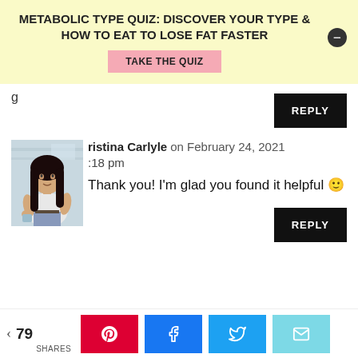METABOLIC TYPE QUIZ: DISCOVER YOUR TYPE & HOW TO EAT TO LOSE FAT FASTER
TAKE THE QUIZ
g
REPLY
Christina Carlyle on February 24, 2021 :18 pm
Thank you! I'm glad you found it helpful 🙂
REPLY
79 SHARES